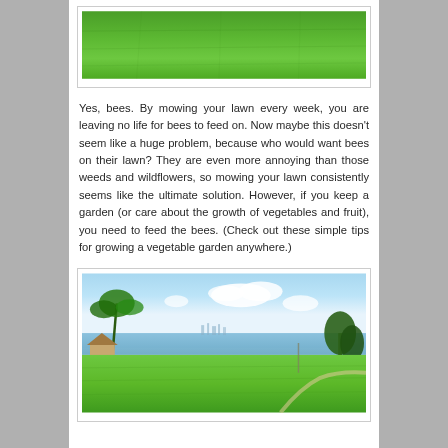[Figure (photo): Close-up photo of a green lawn/grass (top portion visible)]
Yes, bees. By mowing your lawn every week, you are leaving no life for bees to feed on. Now maybe this doesn't seem like a huge problem, because who would want bees on their lawn? They are even more annoying than those weeds and wildflowers, so mowing your lawn consistently seems like the ultimate solution. However, if you keep a garden (or care about the growth of vegetables and fruit), you need to feed the bees. (Check out these simple tips for growing a vegetable garden anywhere.)
[Figure (photo): Photo of a green lawn with a waterfront/bay scene in the background, palm trees on the left, city skyline in the distance, blue sky with clouds]